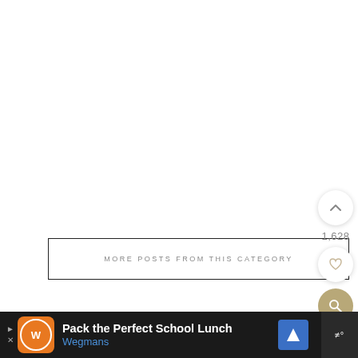MORE POSTS FROM THIS CATEGORY
[Figure (screenshot): White circular button with upward caret/chevron arrow icon]
1,628
[Figure (screenshot): White circular button with heart/like icon]
[Figure (screenshot): Gold/tan circular button with magnifying glass search icon]
[Figure (screenshot): Advertisement bar at bottom: Pack the Perfect School Lunch - Wegmans ad with navigation icon and brand logo]